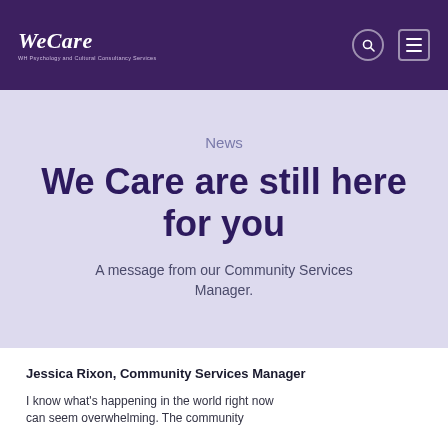WeCare | WH Psychology and Cultural Consultancy Services
News
We Care are still here for you
A message from our Community Services Manager.
Jessica Rixon, Community Services Manager
I know what's happening in the world right now can seem overwhelming. The community